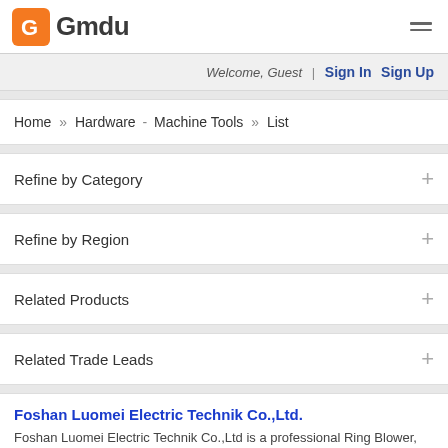Gmdu
Welcome, Guest  Sign In  Sign Up
Home » Hardware - Machine Tools » List
Refine by Category
Refine by Region
Related Products
Related Trade Leads
Foshan Luomei Electric Technik Co.,Ltd.
Foshan Luomei Electric Technik Co.,Ltd is a professional Ring Blower, centrifuagl fan and air heater manufacturer.Founded in 2002, the company is located in Foshan City, Guangdong Province, China, covering an ar